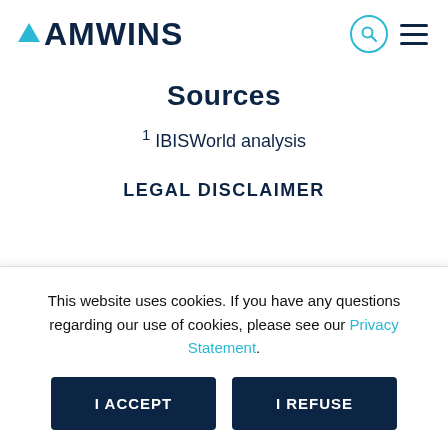AMWINS
Sources
1 IBISWorld analysis
LEGAL DISCLAIMER
This website uses cookies. If you have any questions regarding our use of cookies, please see our Privacy Statement.
I ACCEPT | I REFUSE